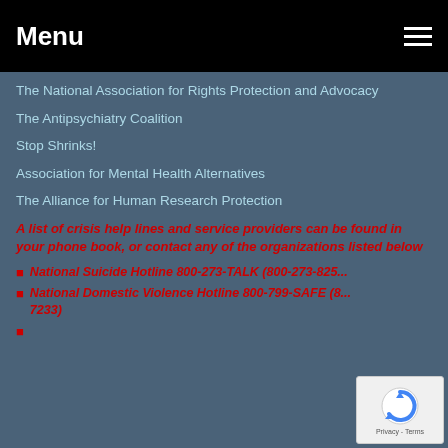Menu
The National Association for Rights Protection and Advocacy
The Antipsychiatry Coalition
Stop Shrinks!
Association for Mental Health Alternatives
The Alliance for Human Research Protection
A list of crisis help lines and service providers can be found in your phone book, or contact any of the organizations listed below
National Suicide Hotline 800-273-TALK (800-273-825...
National Domestic Violence Hotline 800-799-SAFE (8... 7233)
...